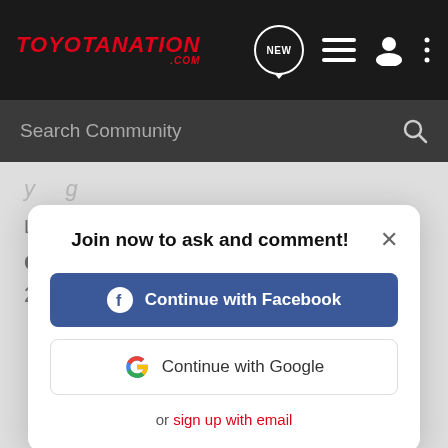TOYOTANATION.COM
Search Community
Lotust - Yes, some things are just too easy.
[Figure (screenshot): Modal dialog with Join now to ask and comment! title, Continue with Facebook button (blue), Continue with Google button (white with Google G logo), and 'or sign up with email' link in red.]
Join now to ask and comment!
Continue with Facebook
Continue with Google
or sign up with email